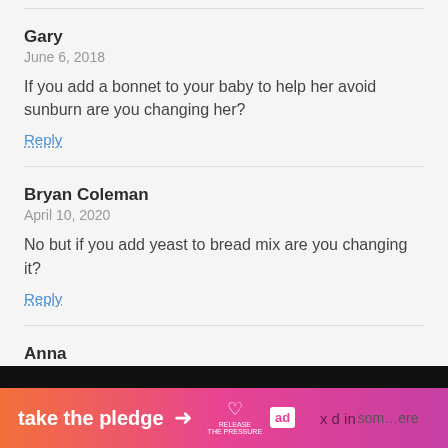Gary
June 6, 2018

If you add a bonnet to your baby to help her avoid sunburn are you changing her?

Reply
Bryan Coleman
April 10, 2020

No but if you add yeast to bread mix are you changing it?

Reply
Anna
October 3, 2012

DEFINITELY biased! Roman Catholics DON'T
[Figure (infographic): Orange-to-pink gradient ad banner at bottom of page reading 'take the pledge' with arrow, Release the Pressure logo (heart icon), ad icon box, and partially obscured overlay text]